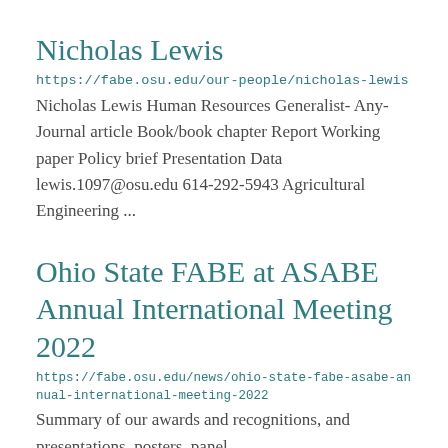Nicholas Lewis
https://fabe.osu.edu/our-people/nicholas-lewis
Nicholas Lewis Human Resources Generalist- Any- Journal article Book/book chapter Report Working paper Policy brief Presentation Data lewis.1097@osu.edu 614-292-5943 Agricultural Engineering ...
Ohio State FABE at ASABE Annual International Meeting 2022
https://fabe.osu.edu/news/ohio-state-fabe-asabe-annual-international-meeting-2022
Summary of our awards and recognitions, and presentations, posters, panel